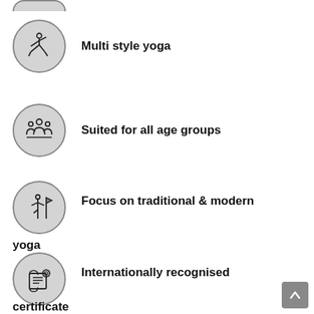[Figure (illustration): Partial yoga pose icon circle at top, cropped]
Multi style yoga
Suited for all age groups
Focus on traditional & modern yoga
Internationally recognised certificate